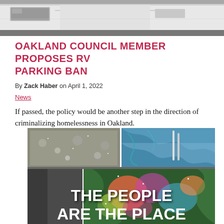[Figure (photo): Top portion of a white van or RV parked on a street, cropped at the top of the page]
OAKLAND COUNCIL MEMBER PROPOSES RV PARKING BAN
By Zack Haber on April 1, 2022
News
If passed, the policy would be another step in the direction of criminalizing homelessness in Oakland.
[Figure (photo): Collage of images: top row shows debris/gravel on left and blue fabric/tarp on right; bottom shows a silhouette of a person on left and colorful abstract mural on right, overlaid with bold white text reading 'THE PEOPLE ARE THE PLACE']